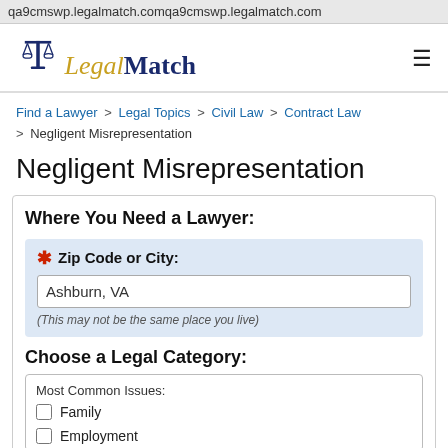qa9cmswp.legalmatch.comqa9cmswp.legalmatch.com
[Figure (logo): LegalMatch logo with scales of justice icon, text reading 'LegalMatch' with 'Legal' in gold italic and 'Match' in dark navy bold]
Find a Lawyer > Legal Topics > Civil Law > Contract Law > Negligent Misrepresentation
Negligent Misrepresentation
Where You Need a Lawyer:
* Zip Code or City: Ashburn, VA (This may not be the same place you live)
Choose a Legal Category:
Most Common Issues:
Family
Employment